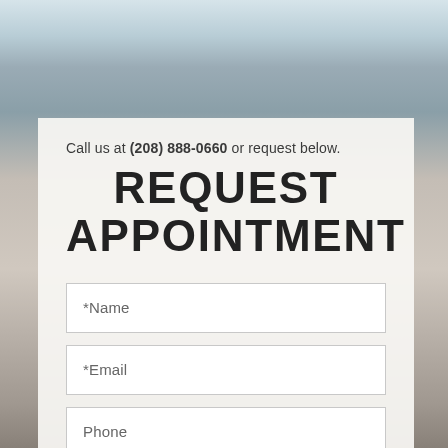[Figure (photo): Background photo of a medical/clinic reception area with blurred warm grey and beige tones, with partial text visible on the right wall.]
Call us at (208) 888-0660 or request below.
REQUEST APPOINTMENT
*Name
*Email
Phone
What is the reason for your appointment?